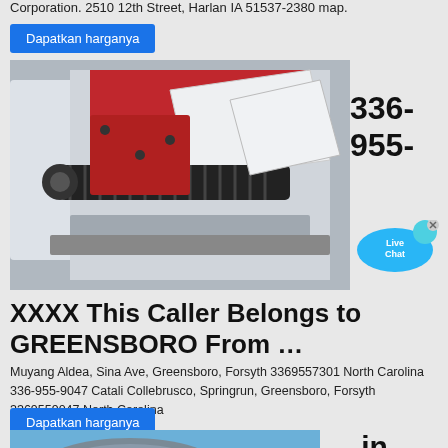Corporation. 2510 12th Street, Harlan IA 51537-2380 map.
Dapatkan harganya
[Figure (photo): Close-up photo of industrial machine with black screw/roller mechanism, red and white casing, metal components]
336-955-
[Figure (illustration): Live Chat speech bubble icon in blue]
XXXX This Caller Belongs to GREENSBORO From …
Muyang Aldea, Sina Ave, Greensboro, Forsyth 3369557301 North Carolina 336-955-9047 Catali Collebrusco, Springrun, Greensboro, Forsyth 3369559047 North Carolina
Dapatkan harganya
[Figure (photo): Partial photo of a dome-shaped building against blue sky]
in place